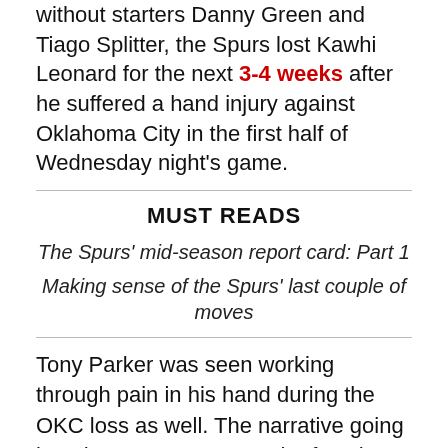without starters Danny Green and Tiago Splitter, the Spurs lost Kawhi Leonard for the next 3-4 weeks after he suffered a hand injury against Oklahoma City in the first half of Wednesday night's game.
MUST READS
The Spurs' mid-season report card: Part 1
Making sense of the Spurs' last couple of moves
Tony Parker was seen working through pain in his hand during the OKC loss as well. The narrative going into the OKC game was the fact that San Antonio hasn't been able to beat the best teams in the league this season, but the injuries have piled up to the point that there is no fair barometer to measure San Antonio by right now. The fact that the Spurs are still near the top of the West and hanging with the better teams in the league without being close to full strength is a